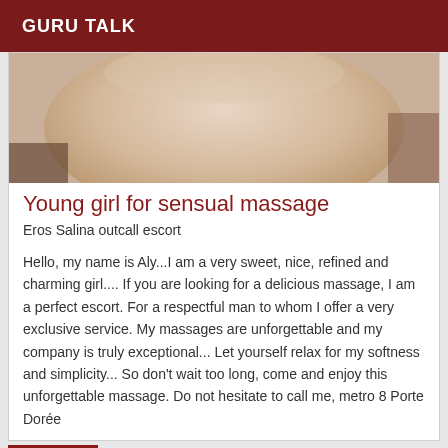GURU TALK
[Figure (photo): Partial photo of a person, upper torso area, light skin tone, cropped image used as listing thumbnail]
Young girl for sensual massage
Eros Salina outcall escort
Hello, my name is Aly...I am a very sweet, nice, refined and charming girl.... If you are looking for a delicious massage, I am a perfect escort. For a respectful man to whom I offer a very exclusive service. My massages are unforgettable and my company is truly exceptional... Let yourself relax for my softness and simplicity... So don't wait too long, come and enjoy this unforgettable massage. Do not hesitate to call me, metro 8 Porte Dorée
Verified